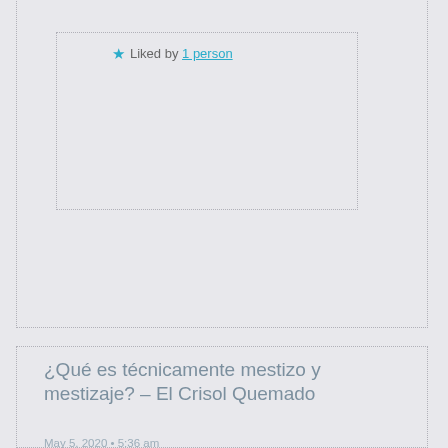★ Liked by 1 person
¿Qué es técnicamente mestizo y mestizaje? – El Crisol Quemado
May 5, 2020 • 5:36 am
Henry Lewis
Advertisements
Professionally designed sites in less than a week